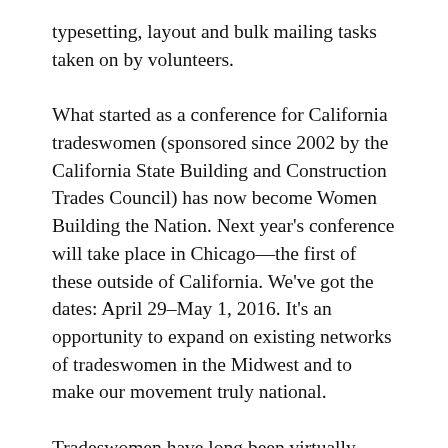typesetting, layout and bulk mailing tasks taken on by volunteers.
What started as a conference for California tradeswomen (sponsored since 2002 by the California State Building and Construction Trades Council) has now become Women Building the Nation. Next year's conference will take place in Chicago—the first of these outside of California. We've got the dates: April 29–May 1, 2016. It's an opportunity to expand on existing networks of tradeswomen in the Midwest and to make our movement truly national.
Tradeswomen have long been virtually invisible